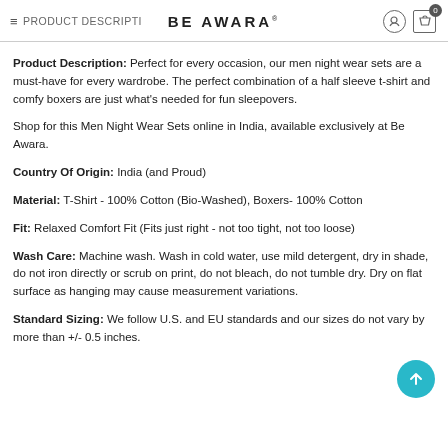PRODUCT DESCRIPTION  BE AWARA
Product Description: Perfect for every occasion, our men night wear sets are a must-have for every wardrobe. The perfect combination of a half sleeve t-shirt and comfy boxers are just what's needed for fun sleepovers.
Shop for this Men Night Wear Sets online in India, available exclusively at Be Awara.
Country Of Origin: India (and Proud)
Material: T-Shirt - 100% Cotton (Bio-Washed), Boxers- 100% Cotton
Fit: Relaxed Comfort Fit (Fits just right - not too tight, not too loose)
Wash Care: Machine wash. Wash in cold water, use mild detergent, dry in shade, do not iron directly or scrub on print, do not bleach, do not tumble dry. Dry on flat surface as hanging may cause measurement variations.
Standard Sizing: We follow U.S. and EU standards and our sizes do not vary by more than +/- 0.5 inches.